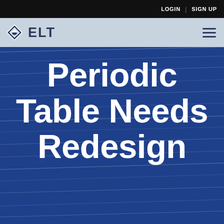LOGIN | SIGN UP
[Figure (logo): ELT logo with graduation cap icon and text 'ELT' in the navigation bar]
Periodic Table Needs Redesign